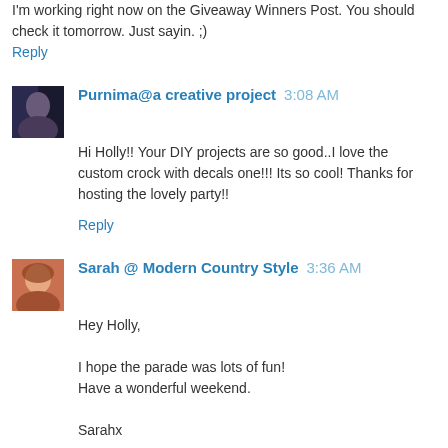I'm working right now on the Giveaway Winners Post. You should check it tomorrow. Just sayin. ;)
Reply
Purnima@a creative project 3:08 AM
Hi Holly!! Your DIY projects are so good..I love the custom crock with decals one!!! Its so cool! Thanks for hosting the lovely party!!
Reply
Sarah @ Modern Country Style 3:36 AM
Hey Holly,

I hope the parade was lots of fun!
Have a wonderful weekend.

Sarahx
Reply